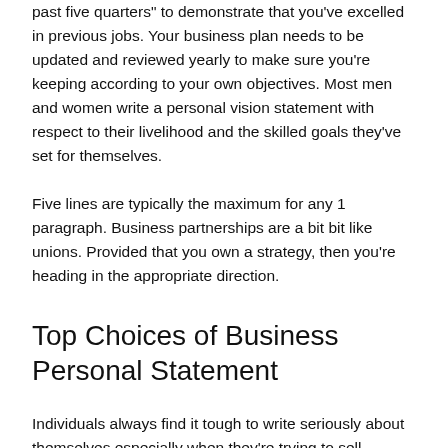past five quarters" to demonstrate that you've excelled in previous jobs. Your business plan needs to be updated and reviewed yearly to make sure you're keeping according to your own objectives. Most men and women write a personal vision statement with respect to their livelihood and the skilled goals they've set for themselves.
Five lines are typically the maximum for any 1 paragraph. Business partnerships are a bit bit like unions. Provided that you own a strategy, then you're heading in the appropriate direction.
Top Choices of Business Personal Statement
Individuals always find it tough to write seriously about themselves especially when they're trying to sell